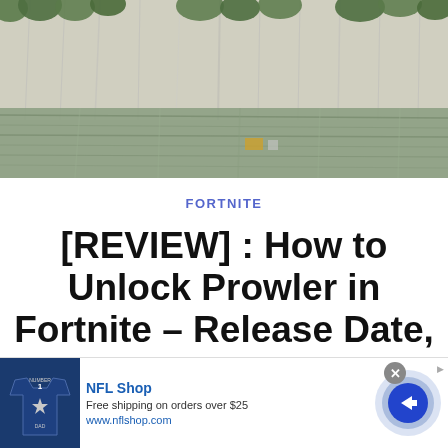[Figure (photo): Outdoor nature photo showing a river or lake with rocky white cliff face in background, green trees/vegetation along the top of the cliff, and water in the foreground with reflections.]
FORTNITE
[REVIEW] : How to Unlock Prowler in Fortnite – Release Date, Quests, More
[Figure (infographic): Advertisement banner for NFL Shop. Shows a Dallas Cowboys jersey with 'NUMBER 1 DAD' text on dark navy background on the left. Text reads 'NFL Shop', 'Free shipping on orders over $25', 'www.nflshop.com'. Has a blue circular arrow button on the right, a close (X) button, and an ad indicator icon.]